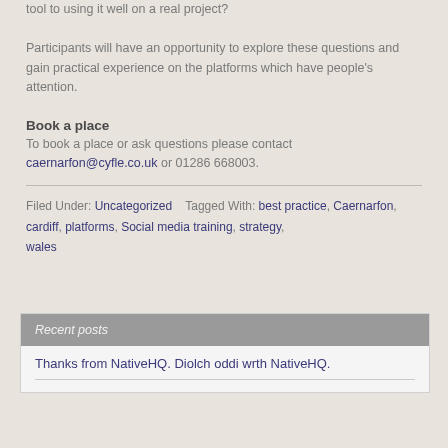tool to using it well on a real project?
Participants will have an opportunity to explore these questions and gain practical experience on the platforms which have people's attention.
Book a place
To book a place or ask questions please contact caernarfon@cyfle.co.uk or 01286 668003.
Filed Under: Uncategorized   Tagged With: best practice, Caernarfon, cardiff, platforms, Social media training, strategy, wales
Recent posts
Thanks from NativeHQ. Diolch oddi wrth NativeHQ.